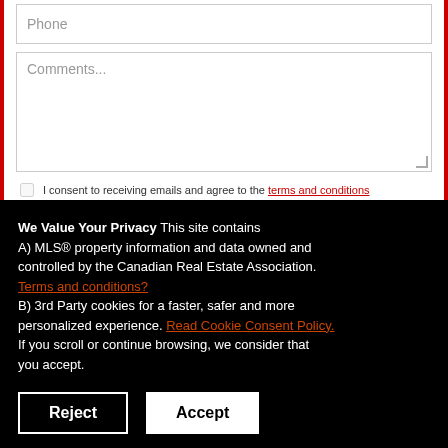[Figure (screenshot): Web form fields: Phone input field and Comments textarea with resize handle, plus a partially visible consent checkbox row reading 'I consent to receiving emails and agree to the terms and conditions']
We Value Your Privacy This site contains A) MLS® property information and data owned and controlled by the Canadian Real Estate Association. Terms and conditions? B) 3rd Party cookies for a faster, safer and more personalized experience. Read Cookie Consent Policy. If you scroll or continue browsing, we consider that you accept.
Reject | Accept